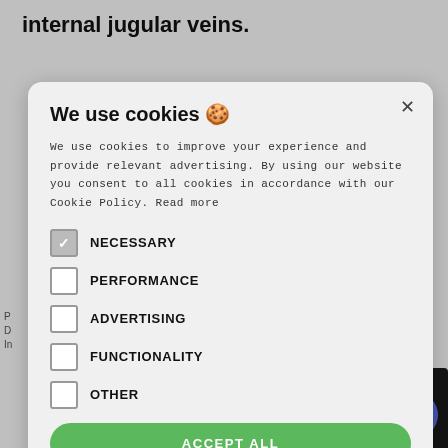internal jugular veins.
[Figure (screenshot): Cookie consent modal overlay on a medical anatomy webpage about internal jugular veins. The modal has a title 'We use cookies 🍪', body text about cookie policy, checkboxes for NECESSARY (checked), PERFORMANCE, ADVERTISING, FUNCTIONALITY, OTHER, and an ACCEPT ALL button. Background shows anatomy labels for Dura mater (periosteal layer), Dura mater (meningeal layer), Pia mater, Superior cerebral vein, and text 'gittal sinus'.]
We use cookies 🍪
We use cookies to improve your experience and provide relevant advertising. By using our website you consent to all cookies in accordance with our Cookie Policy. Read more
NECESSARY
PERFORMANCE
ADVERTISING
FUNCTIONALITY
OTHER
ACCEPT ALL